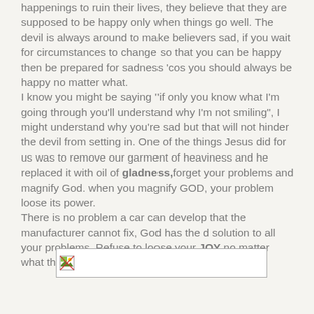happenings to ruin their lives, they believe that they are supposed to be happy only when things go well. The devil is always around to make believers sad, if you wait for circumstances to change so that you can be happy then be prepared for sadness 'cos you should always be happy no matter what. I know you might be saying "if only you know what I'm going through you'll understand why I'm not smiling", I might understand why you're sad but that will not hinder the devil from setting in. One of the things Jesus did for us was to remove our garment of heaviness and he replaced it with oil of gladness,forget your problems and magnify God. when you magnify GOD, your problem loose its power. There is no problem a car can develop that the manufacturer cannot fix, God has the d solution to all your problems. Refuse to loose your JOY no matter what the situation might be .
[Figure (other): Broken image placeholder icon inside a rectangular box]